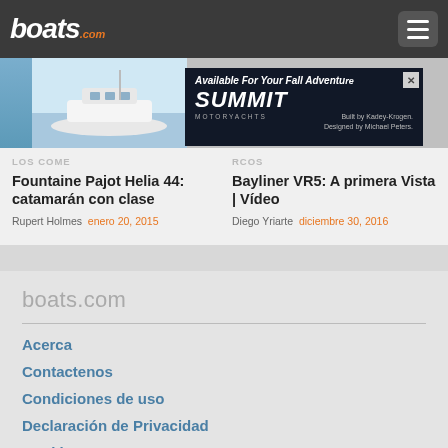boats.com
[Figure (screenshot): Article card images strip with boat photo in center and advertisement overlay reading 'Available For Your Fall Adventure SUMMIT MOTORYACHTS Built by Kadey-Krogen. Designed by Michael Peters.']
LOS COME... RCOS
Fountaine Pajot Helia 44: catamarán con clase
Rupert Holmes  enero 20, 2015
Bayliner VR5: A primera Vista | Vídeo
Diego Yriarte  diciembre 30, 2016
boats.com
Acerca
Contactenos
Condiciones de uso
Declaración de Privacidad
Cookies